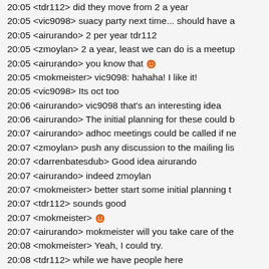20:05 <tdr112> did they move from 2 a year
20:05 <vic9098> suacy party next time... should have a
20:05 <airurando> 2 per year tdr112
20:05 <zmoylan> 2 a year, least we can do is a meetup
20:05 <airurando> you know that 🙂
20:05 <mokmeister> vic9098: hahaha! I like it!
20:05 <vic9098> Its oct too
20:06 <airurando> vic9098 that's an interesting idea
20:06 <airurando> The initial planning for these could b
20:07 <airurando> adhoc meetings could be called if ne
20:07 <zmoylan> push any discussion to the mailing lis
20:07 <darrenbatesdub> Good idea airurando
20:07 <airurando> indeed zmoylan
20:07 <mokmeister> better start some initial planning t
20:07 <tdr112> sounds good
20:07 <mokmeister> 🙂
20:07 <airurando> mokmeister will you take care of the
20:08 <mokmeister> Yeah, I could try.
20:08 <tdr112> while we have people here
20:08 <tdr112> who would go to one in Dublin
20:08 <zmoylan> i should be able to attend in dublin
20:08 <airurando> I think we can initially plan to have a
20:08 <vic9098> me...back to DCU from Sept